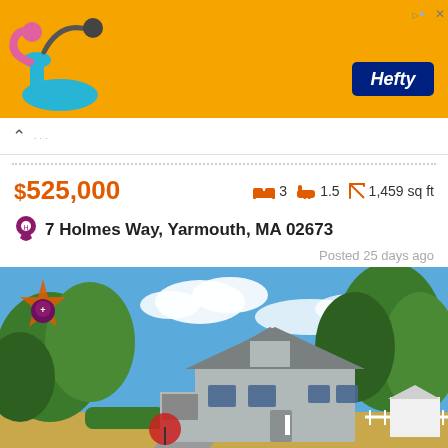[Figure (photo): Hefty brand advertisement banner with orange background, vacuum cleaner image on left, Hefty logo in blue on right]
$525,000  🛏3  🛁1.5  ↕1,459 sq ft
7 Holmes Way, Yarmouth, MA 02673
Posted 25 days ago
[Figure (photo): Exterior photo of a gray cape cod style house at 7 Holmes Way, Yarmouth MA, with green trees, blue sky, driveway, and white fence]